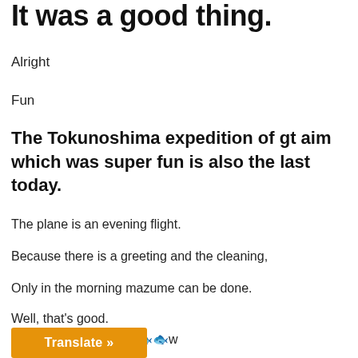It was a good thing.
Alright
Fun
The Tokunoshima expedition of gt aim which was super fun is also the last today.
The plane is an evening flight.
Because there is a greeting and the cleaning,
Only in the morning mazume can be done.
Well, that's good.
How about the fish 🐟🐟🐟w
Translate »